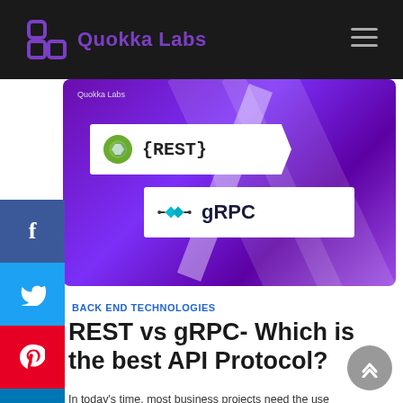Quokka Labs
[Figure (illustration): Hero image showing REST vs gRPC comparison on a purple gradient background with white badge labels for {REST} and gRPC logos]
BACK END TECHNOLOGIES
REST vs gRPC- Which is the best API Protocol?
In today's time, most business projects need the use